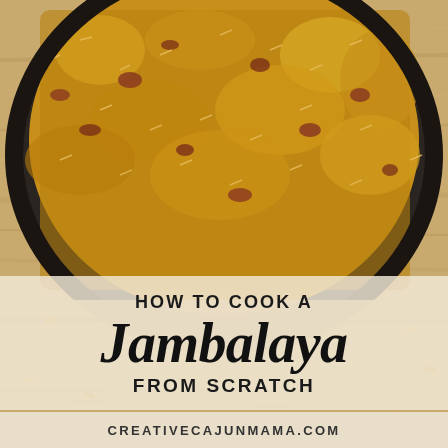[Figure (photo): Close-up overhead photo of jambalaya in a cast iron skillet on a wooden surface. The dish shows golden-brown rice mixed with pieces of sausage, filling most of the frame.]
HOW TO COOK A Jambalaya FROM SCRATCH
CREATIVECAJUNMAMA.COM